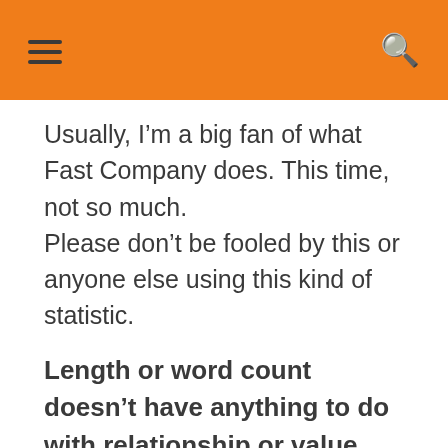Usually, I’m a big fan of what Fast Company does. This time, not so much.
Please don’t be fooled by this or anyone else using this kind of statistic.
Length or word count doesn’t have anything to do with relationship or value.
Some text that continues below…